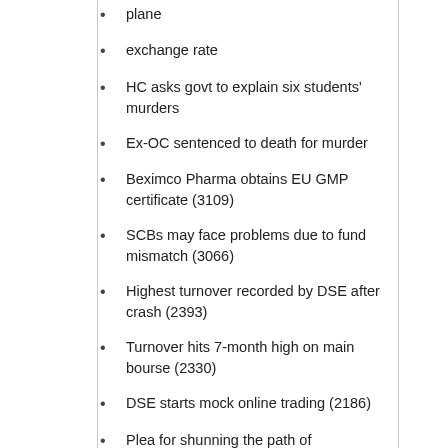plane
exchange rate
HC asks govt to explain six students' murders
Ex-OC sentenced to death for murder
Beximco Pharma obtains EU GMP certificate (3109)
SCBs may face problems due to fund mismatch (3066)
Highest turnover recorded by DSE after crash (2393)
Turnover hits 7-month high on main bourse (2330)
DSE starts mock online trading (2186)
Plea for shunning the path of confrontational politics (2019)
Govt urged to raise supply side to avert stock market debacle (1484)
Negotiations over Dhaka-Washington TECE deal to be concluded soon (1459)